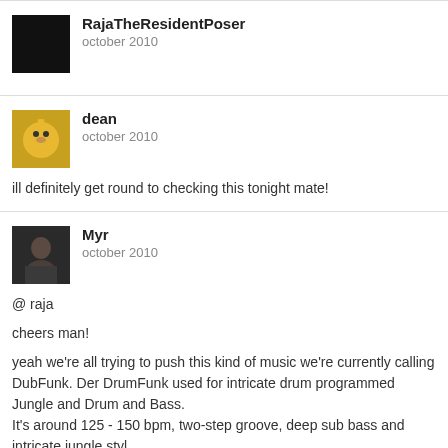RajaTheResidentPoser
october 2010
dean
october 2010
ill definitely get round to checking this tonight mate!
Myr
october 2010
@ raja
cheers man!
yeah we're all trying to push this kind of music we're currently calling DubFunk. Der DrumFunk used for intricate drum programmed Jungle and Drum and Bass. It's around 125 - 150 bpm, two-step groove, deep sub bass and intricate jungle styl
you can find loads more stuff on soundcloud going to www.mothersagainstnoise.co Music page and listening on the soundcloud widgets.
i'd also really advise checking out Duskky, one of the guys on the album, who has download album out on an irish label called acroplane.
http://www.acroplane.org/?q=node/992